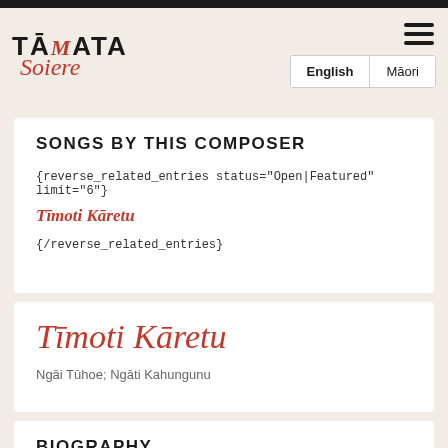TĀMATA Soiere — English / Māori navigation header
SONGS BY THIS COMPOSER
{reverse_related_entries status="Open|Featured" limit="6"}
Tīmoti Kāretu
{/reverse_related_entries}
Tīmoti Kāretu
Ngāi Tūhoe; Ngāti Kahungunu
BIOGRAPHY